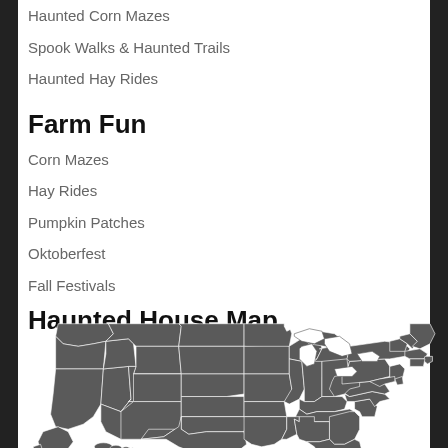Haunted Corn Mazes
Spook Walks & Haunted Trails
Haunted Hay Rides
Farm Fun
Corn Mazes
Hay Rides
Pumpkin Patches
Oktoberfest
Fall Festivals
Haunted House Map
[Figure (map): A grey silhouette map of the contiguous United States showing all 48 states with white borders between states.]